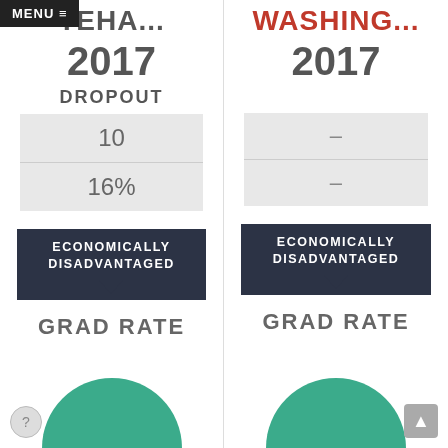MENU ≡
TEHA...
WASHING...
2017
2017
DROPOUT
| 10 |
| 16% |
| – |
| – |
ECONOMICALLY DISADVANTAGED
ECONOMICALLY DISADVANTAGED
GRAD RATE
GRAD RATE